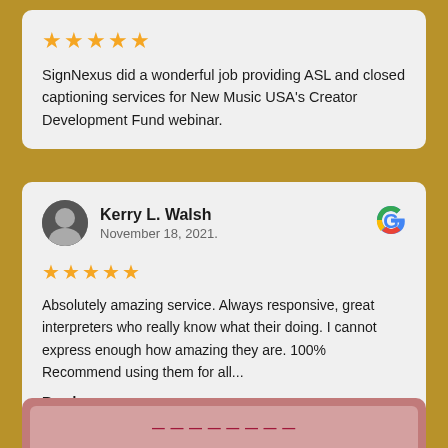★★★★★
SignNexus did a wonderful job providing ASL and closed captioning services for New Music USA's Creator Development Fund webinar.
Kerry L. Walsh
November 18, 2021.
★★★★★
Absolutely amazing service. Always responsive, great interpreters who really know what their doing. I cannot express enough how amazing they are. 100% Recommend using them for all...
Read more